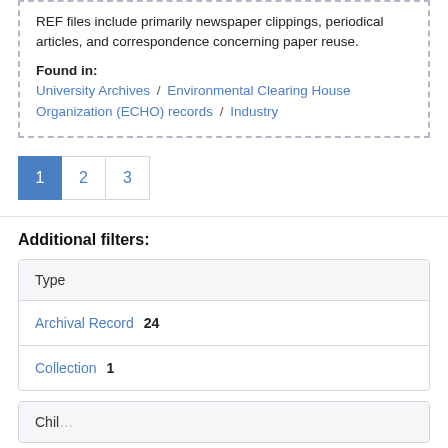REF files include primarily newspaper clippings, periodical articles, and correspondence concerning paper reuse.
Found in: University Archives / Environmental Clearing House Organization (ECHO) records / Industry
1 2 3
Additional filters:
Type
Archival Record 24
Collection 1